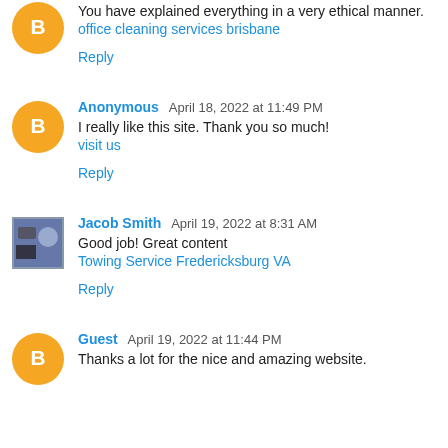You have explained everything in a very ethical manner.
office cleaning services brisbane
Reply
Anonymous April 18, 2022 at 11:49 PM
I really like this site. Thank you so much!
visit us
Reply
Jacob Smith April 19, 2022 at 8:31 AM
Good job! Great content
Towing Service Fredericksburg VA
Reply
Guest April 19, 2022 at 11:44 PM
Thanks a lot for the nice and amazing website.